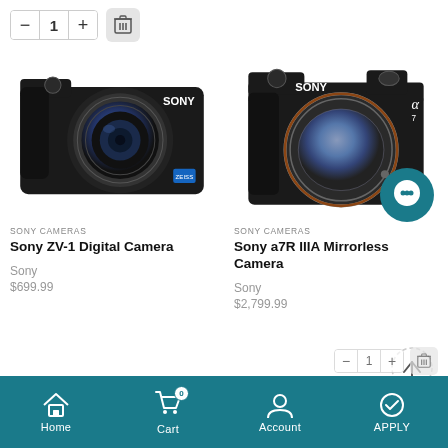[Figure (screenshot): Quantity selector with minus, 1, plus buttons and a trash/delete icon button]
[Figure (photo): Sony ZV-1 Digital Camera product photo, front view showing compact camera with large lens]
SONY CAMERAS
Sony ZV-1 Digital Camera
Sony
$699.99
[Figure (photo): Sony a7R IIIA Mirrorless Camera product photo, front view showing mirrorless camera body without lens]
SONY CAMERAS
Sony a7R IIIA Mirrorless Camera
Sony
$2,799.99
Home  Cart  Account  APPLY